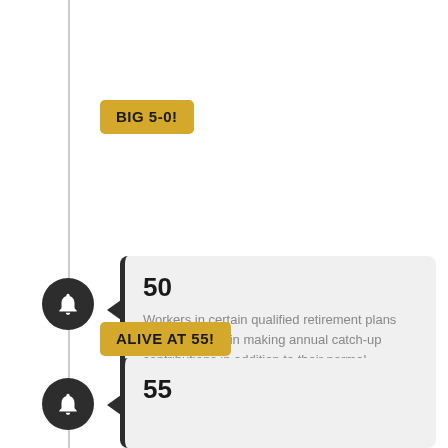BIG 5-0!
50
Workers in certain qualified retirement plans are able to begin making annual catch-up contributions in addition to their normal contributions.
ALIVE AT 55!
55